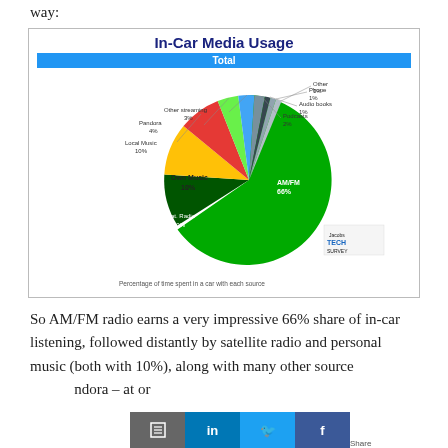way:
[Figure (pie-chart): In-Car Media Usage]
Percentage of time spent in a car with each source
So AM/FM radio earns a very impressive 66% share of in-car listening, followed distantly by satellite radio and personal music (both with 10%), along with many other source…ndora – at or